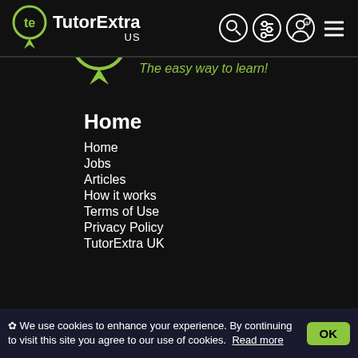TutorExtra US
[Figure (logo): TutorExtra logo — green circle with 'te' inside a map pin, white text 'TutorExtra', green italic 'The easy way to learn!']
Home
Home
Jobs
Articles
How it works
Terms of Use
Privacy Policy
TutorExtra UK
✿ We use cookies to enhance your experience. By continuing to visit this site you agree to our use of cookies. Read more  OK